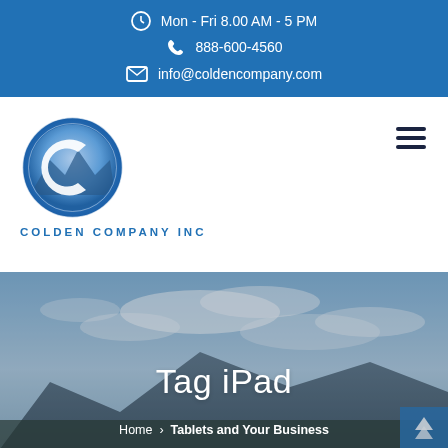Mon - Fri 8.00 AM - 5 PM | 888-600-4560 | info@coldencompany.com
[Figure (logo): Colden Company Inc logo: circular blue gradient C emblem with mountain/landscape inside]
COLDEN COMPANY INC
[Figure (photo): Scenic landscape photo of mountains and sky with clouds, used as hero background]
Tag iPad
Home > Tablets and Your Business